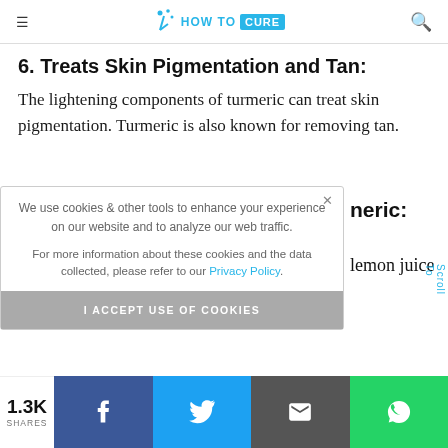HOW TO CURE
6. Treats Skin Pigmentation and Tan:
The lightening components of turmeric can treat skin pigmentation. Turmeric is also known for removing tan.
We use cookies & other tools to enhance your experience on our website and to analyze our web traffic.

For more information about these cookies and the data collected, please refer to our Privacy Policy.
I ACCEPT USE OF COOKIES
neric:
lemon juice
Scroll To
1.3K SHARES